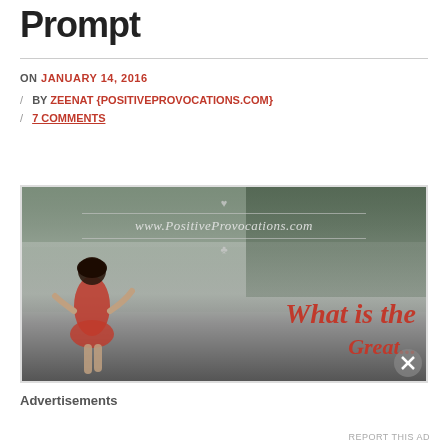Prompt
ON JANUARY 14, 2016
/ BY ZEENAT {POSITIVEPROVOCATIONS.COM}
/ 7 COMMENTS
[Figure (photo): A misty outdoor scene with a girl running, watermark 'www.PositiveProvocations.com', red script text 'What is the' at bottom right. Close/X button overlay.]
Advertisements
REPORT THIS AD